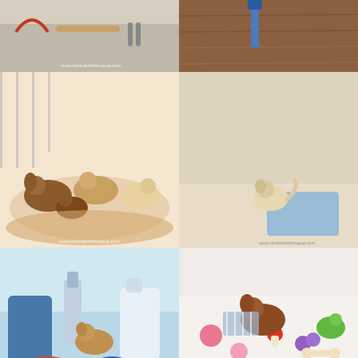[Figure (photo): 2x3 grid of six puppy/dog photos from www.miracleshihtzupup.com. Top-left: tools and supplies on a table. Top-right: brown wooden surface close-up. Middle-left: group of Shih Tzu puppies in a whelping box. Middle-right: single light-colored puppy in a corner with puppy pads. Bottom-left: small puppy standing among cleaning supplies and blue items. Bottom-right: puppy surrounded by colorful toys.]
Here Is 10 Essential Dog And Puppy Supplies All New Puppy Parents Need For Their New Babies Puppysupplies Dogstuff Newpu Puppy Supplies New Puppy Puppies